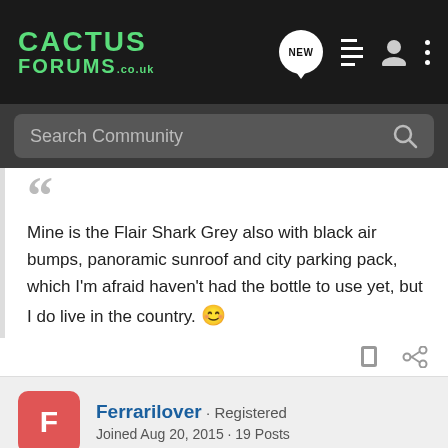CACTUS FORUMS .co.uk — Search Community
Mine is the Flair Shark Grey also with black air bumps, panoramic sunroof and city parking pack, which I'm afraid haven't had the bottle to use yet, but I do live in the country. 🙂
Ferrarilover · Registered
Joined Aug 20, 2015 · 19 Posts
Discussion Starter · #8 · Aug 22, 2015
The self parking that I have on the Picasso works fine and you have control as you do the speed. However I am good at parking and find that the time it takes compared to the last ...